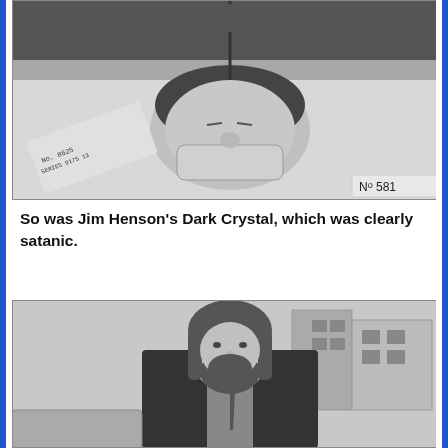[Figure (photo): Black and white photograph of a child lying down with medical equipment, a mask on their face and items near their head. A numbered tag reads 'No 581' in the lower right corner.]
So was Jim Henson's Dark Crystal, which was clearly satanic.
[Figure (photo): Black and white photograph of a bearded man with long hair wearing a dark suit and tie, standing in front of a street scene with buildings in the background.]